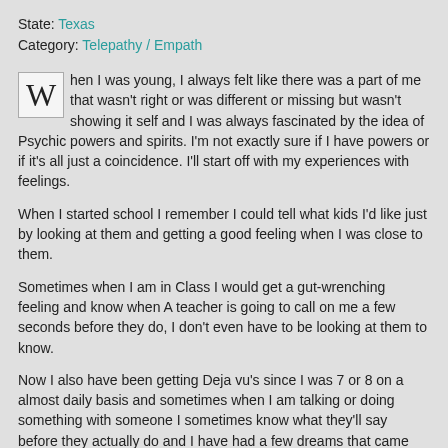State: Texas
Category: Telepathy / Empath
When I was young, I always felt like there was a part of me that wasn't right or was different or missing but wasn't showing it self and I was always fascinated by the idea of Psychic powers and spirits. I'm not exactly sure if I have powers or if it's all just a coincidence. I'll start off with my experiences with feelings.
When I started school I remember I could tell what kids I'd like just by looking at them and getting a good feeling when I was close to them.
Sometimes when I am in Class I would get a gut-wrenching feeling and know when A teacher is going to call on me a few seconds before they do, I don't even have to be looking at them to know.
Now I also have been getting Deja vu's since I was 7 or 8 on a almost daily basis and sometimes when I am talking or doing something with someone I sometimes know what they'll say before they actually do and I have had a few dreams that came true later, but it was about some minor things so I don't really